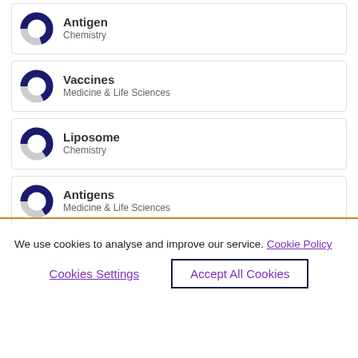Antigen
Chemistry
Vaccines
Medicine & Life Sciences
Liposome
Chemistry
Antigens
Medicine & Life Sciences
Injections
We use cookies to analyse and improve our service. Cookie Policy
Cookies Settings
Accept All Cookies